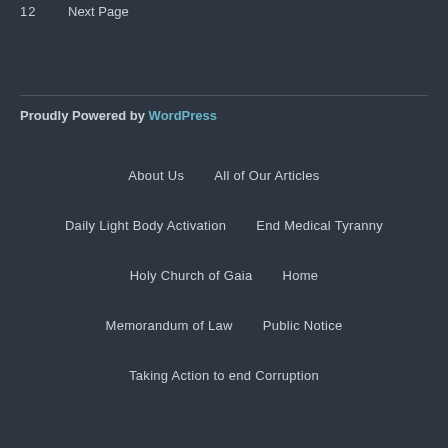12   Next Page
Proudly Powered by WordPress
About Us
All of Our Articles
Daily Light Body Activation
End Medical Tyranny
Holy Church of Gaia
Home
Memorandum of Law
Public Notice
Taking Action to end Corruption